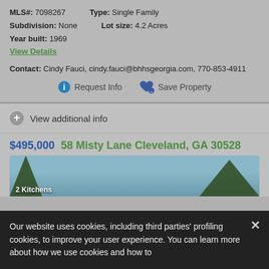MLS#: 7098267   Type: Single Family
Subdivision: None   Lot size: 4.2 Acres
Year built: 1969
View Details
Contact: Cindy Fauci, cindy.fauci@bhhsgeorgia.com, 770-853-4911
Request Info   Save Property
View additional info
$495,000  58 Misty Lane Cleveland, GA 30528
[Figure (photo): Exterior photo of property at 58 Misty Lane Cleveland GA 30528, showing sky and trees]
2 Kitchens
Our website uses cookies, including third parties' profiling cookies, to improve your user experience. You can learn more about how we use cookies and how to